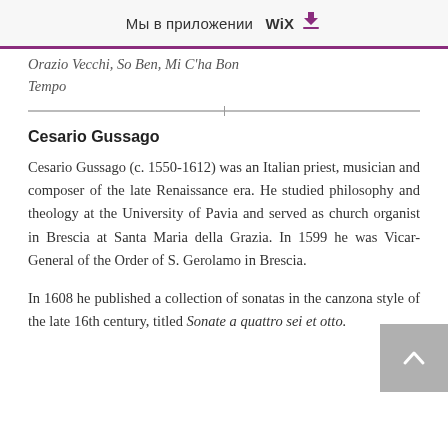Мы в приложении WiX ⬇
Orazio Vecchi, So Ben, Mi C'ha Bon Tempo
Cesario Gussago
Cesario Gussago (c. 1550-1612) was an Italian priest, musician and composer of the late Renaissance era. He studied philosophy and theology at the University of Pavia and served as church organist in Brescia at Santa Maria della Grazia. In 1599 he was Vicar-General of the Order of S. Gerolamo in Brescia.
In 1608 he published a collection of sonatas in the canzona style of the late 16th century, titled Sonate a quattro sei et otto.